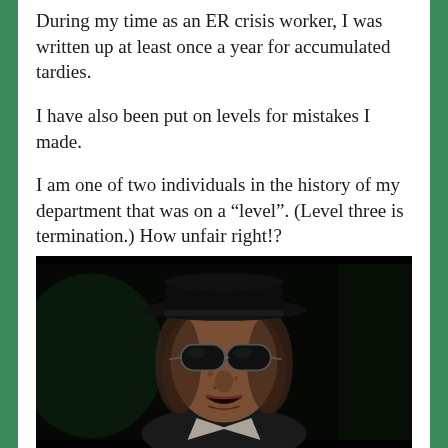During my time as an ER crisis worker, I was written up at least once a year for accumulated tardies.
I have also been put on levels for mistakes I made.
I am one of two individuals in the history of my department that was on a “level”. (Level three is termination.) How unfair right!?
[Figure (photo): A person wearing dark sunglasses and a hat, photographed in a dark setting, mouth open, wearing a suit. Dark, moody lighting.]